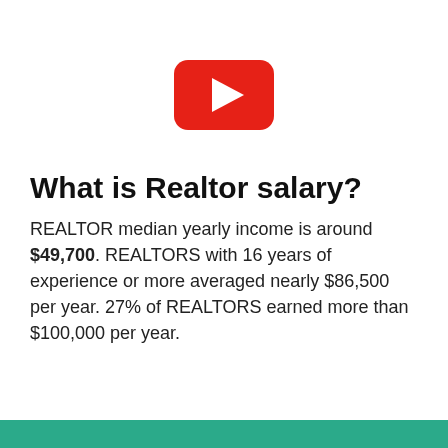[Figure (logo): YouTube play button logo — red rounded rectangle with white triangle play icon in center]
What is Realtor salary?
REALTOR median yearly income is around $49,700. REALTORS with 16 years of experience or more averaged nearly $86,500 per year. 27% of REALTORS earned more than $100,000 per year.